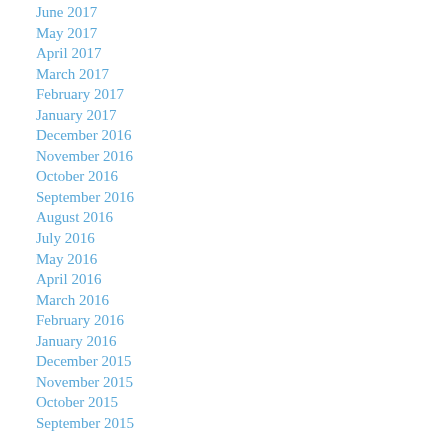June 2017
May 2017
April 2017
March 2017
February 2017
January 2017
December 2016
November 2016
October 2016
September 2016
August 2016
July 2016
May 2016
April 2016
March 2016
February 2016
January 2016
December 2015
November 2015
October 2015
September 2015